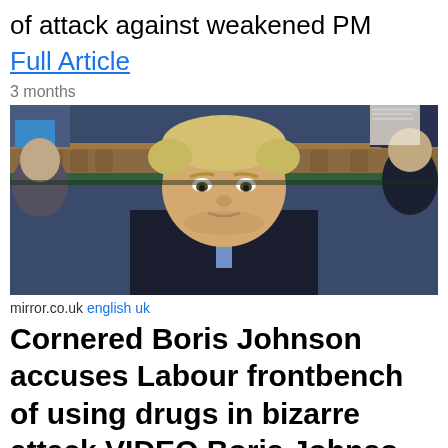of attack against weakened PM
Full Article
3 months
[Figure (photo): Boris Johnson seated in the House of Commons chamber, looking downward with a serious expression, wearing a dark suit and light blue tie. Parliament green benches and wooden paneling visible in background.]
mirror.co.uk english uk
Cornered Boris Johnson accuses Labour frontbench of using drugs in bizarre attack VIDEO Boris Johnso